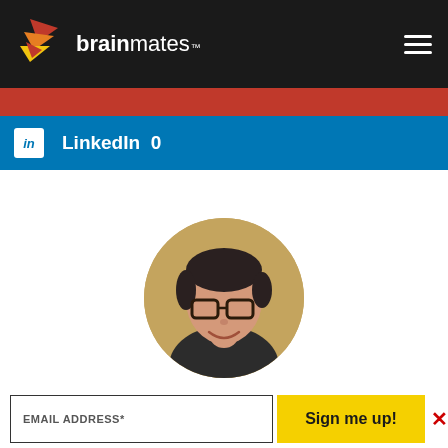[Figure (logo): Brainmates logo with colorful paper plane icon on dark background header with hamburger menu icon]
[Figure (infographic): Red social share bar partially visible]
[Figure (infographic): LinkedIn share bar showing 'LinkedIn 0' count in blue]
[Figure (photo): Circular profile photo of a smiling Asian woman with short dark hair wearing glasses and a dark top, against a warm yellow-brown background]
EMAIL ADDRESS*
Sign me up!